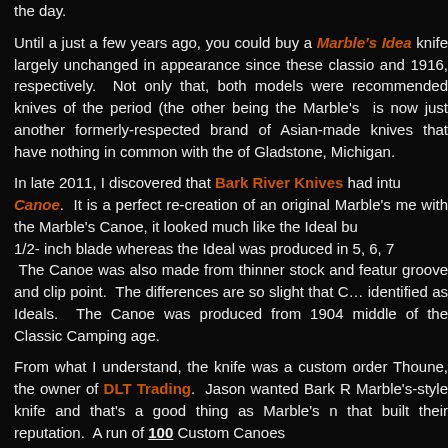the day.
Until a just a few years ago, you could buy a Marble's Idea knife largely unchanged in appearance since these classics and 1916, respectively. Not only that, both models were recommended knives of the period (the other being the Marble's is now just another formerly-respected brand of Asian-made knives that have nothing in common with the of Gladstone, Michigan.
In late 2011, I discovered that Bark River Knives had intu Canoe. It is a perfect re-creation of an original Marble's me with the Marble's Canoe, it looked much like the Ideal but 1/2- inch blade whereas the Ideal was produced in 5, 6, 7 The Canoe was also made from thinner stock and featur groove and clip point. The differences are so slight that Ca identified as Ideals. The Canoe was produced from 1904 middle of the Classic Camping age.
From what I understand, the knife was a custom order Thoune, the owner of DLT Trading. Jason wanted Bark Marble's-style knife and that's a good thing as Marble's n that built their reputation. A run of 100 Custom Canoes